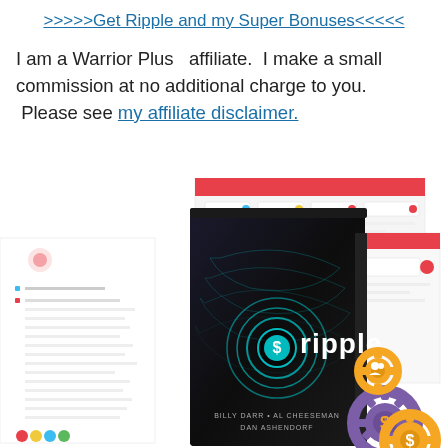>>>>>Get Ripple and my Super Bonuses<<<<<
I am a Warrior Plus  affiliate.  I make a small commission at no additional charge to you.  Please see my affiliate disclaimer.
[Figure (photo): Product box image for 'Ripple' software by Billy Darr, Al Cheeseman, Dan Ashendorf. Dark box with ripple logo showing a dollar sign in concentric circles. Background shows software UI screenshots with pink/red header bars. Gear icons with money symbols in bottom right.]